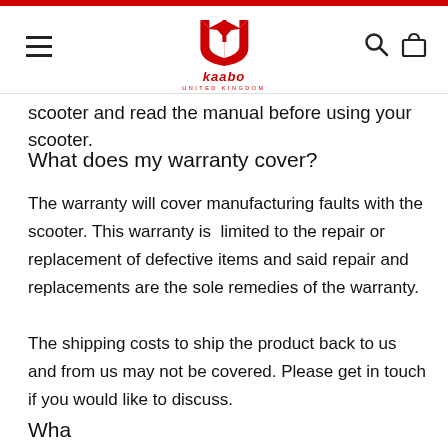Kaabo United Kingdom — navigation header with logo, hamburger menu, search and cart icons
scooter and read the manual before using your scooter.
What does my warranty cover?
The warranty will cover manufacturing faults with the scooter. This warranty is  limited to the repair or replacement of defective items and said repair and replacements are the sole remedies of the warranty.
The shipping costs to ship the product back to us and from us may not be covered. Please get in touch if you would like to discuss.
What does my warranty cover?